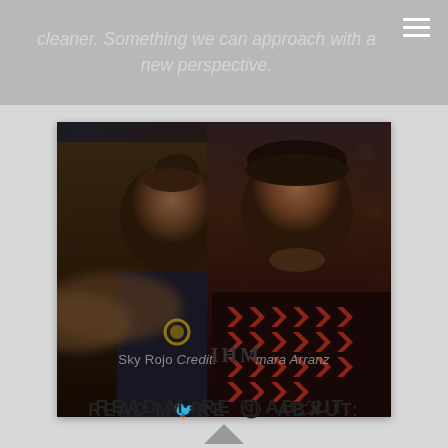cleaner. Something we can approach with a new perspective.
[Figure (photo): Two men in a dramatic cinematic scene. Left man reaches toward camera, right man in patterned red/black shirt looks directly at viewer. Bokeh lights in background.]
Sky Rojo Credit: Tamara Arranz
READ MORE ABOUT: